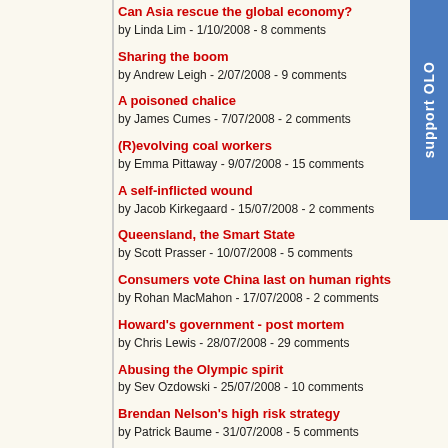Can Asia rescue the global economy? by Linda Lim - 1/10/2008 - 8 comments
Sharing the boom by Andrew Leigh - 2/07/2008 - 9 comments
A poisoned chalice by James Cumes - 7/07/2008 - 2 comments
(R)evolving coal workers by Emma Pittaway - 9/07/2008 - 15 comments
A self-inflicted wound by Jacob Kirkegaard - 15/07/2008 - 2 comments
Queensland, the Smart State by Scott Prasser - 10/07/2008 - 5 comments
Consumers vote China last on human rights by Rohan MacMahon - 17/07/2008 - 2 comments
Howard's government - post mortem by Chris Lewis - 28/07/2008 - 29 comments
Abusing the Olympic spirit by Sev Ozdowski - 25/07/2008 - 10 comments
Brendan Nelson's high risk strategy by Patrick Baume - 31/07/2008 - 5 comments
Say 'yes' to clean coal, but say 'no' to General Electric by Jonathan J. Ariel - 12/08/2008 - 7 comments
The truth about recent policy trends: an alternative opin by Chris Lewis - 11/08/2008 - 1 comment